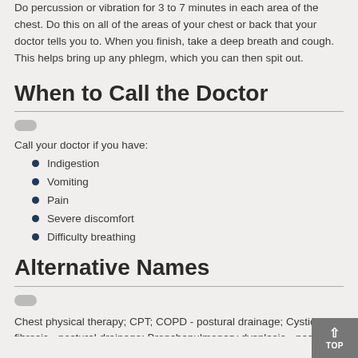Do percussion or vibration for 3 to 7 minutes in each area of the chest. Do this on all of the areas of your chest or back that your doctor tells you to. When you finish, take a deep breath and cough. This helps bring up any phlegm, which you can then spit out.
When to Call the Doctor
Call your doctor if you have:
Indigestion
Vomiting
Pain
Severe discomfort
Difficulty breathing
Alternative Names
Chest physical therapy; CPT; COPD - postural drainage; Cystic fibrosis - postural drainage; Bronchopulmonary dysplasia - postural drainage